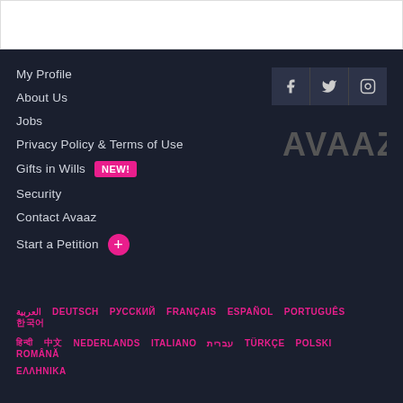My Profile
About Us
Jobs
Privacy Policy & Terms of Use
Gifts in Wills NEW!
Security
Contact Avaaz
Start a Petition
[Figure (logo): AVAAZ logo in grey on dark background]
العربية  DEUTSCH  РУССКИЙ  FRANÇAIS  ESPAÑOL  PORTUGUÊS  한국어  हिन्दी  中文  NEDERLANDS  ITALIANO  עברית  TÜRKÇE  POLSKI  ROMÂNĂ  ΕΛΛΗΝΙΚΑ